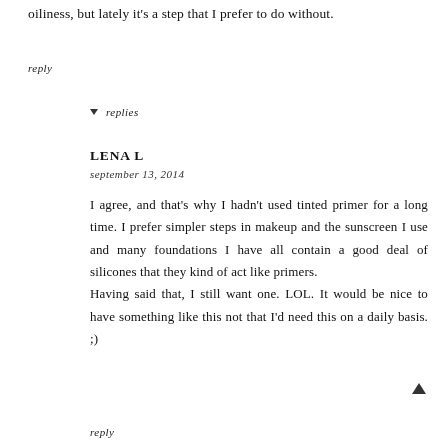oiliness, but lately it's a step that I prefer to do without.
reply
▼ replies
LENA L
september 13, 2014
I agree, and that's why I hadn't used tinted primer for a long time. I prefer simpler steps in makeup and the sunscreen I use and many foundations I have all contain a good deal of silicones that they kind of act like primers.
Having said that, I still want one. LOL. It would be nice to have something like this not that I'd need this on a daily basis. ;)
reply